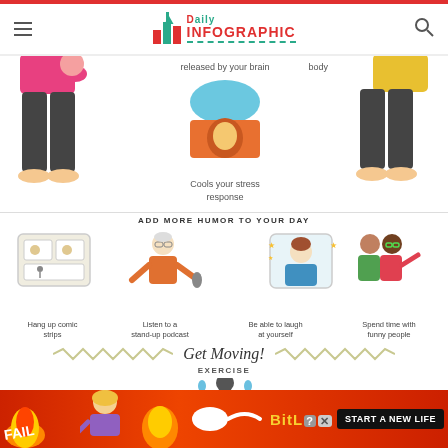Daily INFOGRAPHIC
[Figure (infographic): Partial view of infographic showing legs of figures on left and right, with a tent-like icon in the center labeled 'Cools your stress response'. Text fragments: 'released by your brain', 'body']
ADD MORE HUMOR TO YOUR DAY
[Figure (infographic): Four icons in a row: comic strip frame, person with microphone, person in mirror/frame, two people together]
Hang up comic strips
Listen to a stand-up podcast
Be able to laugh at yourself
Spend time with funny people
Get Moving!
EXERCISE
[Figure (infographic): Advertisement banner: BitLife 'START A NEW LIFE' with fire and character imagery]